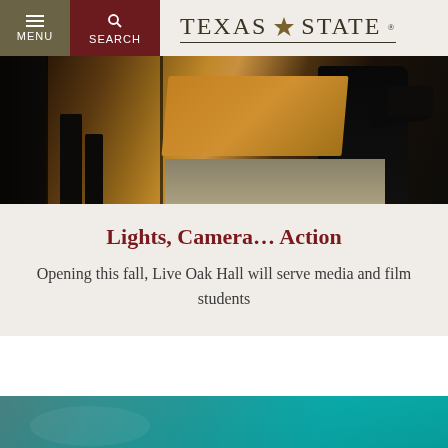MENU | SEARCH | TEXAS STATE
[Figure (photo): A silhouetted person operating a camera/film equipment on a production set with warm lighting and staging in background]
Lights, Camera… Action
Opening this fall, Live Oak Hall will serve media and film students
[Figure (photo): Teal/green gradient banner image — bottom of page]